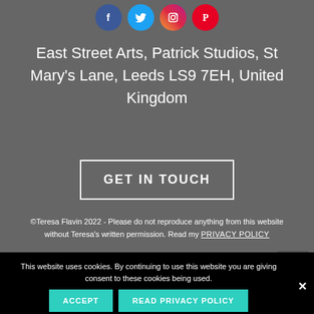[Figure (other): Four social media icon circles: Facebook (blue), Twitter (light blue), Instagram (orange gradient), Pinterest (red)]
East Street Arts, Patrick Studios, St Mary's Lane, Leeds LS9 7EH, United Kingdom
GET IN TOUCH
©Teresa Flavin 2022 - Please do not reproduce anything from this website without Teresa's written permission. Read my PRIVACY POLICY
This website uses cookies. By continuing to use this website you are giving consent to these cookies being used.
ACCEPT
READ PRIVACY POLICY